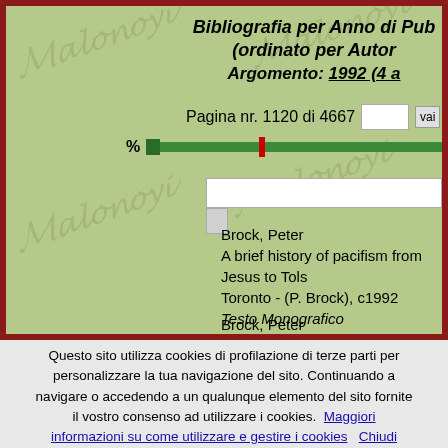Bibliografia per Anno di Pub... (ordinato per Autor... Argomento: 1992 (4 a...
Pagina nr. 1120 di 4667
Brock, Peter
A brief history of pacifism from Jesus to Tols...
Toronto - (P. Brock), c1992
Testo Monografico
Brock, Peter
Questo sito utilizza cookies di profilazione di terze parti per personalizzare la tua navigazione del sito. Continuando a navigare o accedendo a un qualunque elemento del sito fornite il vostro consenso ad utilizzare i cookies. Maggiori informazioni su come utilizzare e gestire i cookies   Chiudi